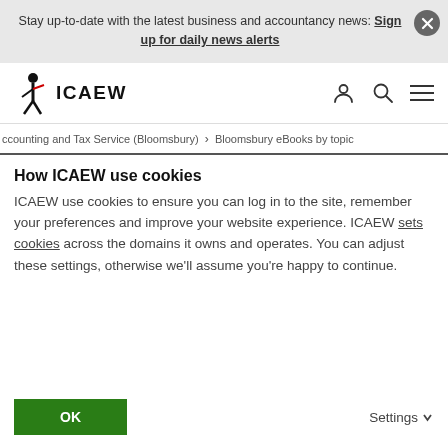Stay up-to-date with the latest business and accountancy news: Sign up for daily news alerts
[Figure (logo): ICAEW logo with stylized figure and red mark]
ccounting and Tax Service (Bloomsbury) > Bloomsbury eBooks by topic
How ICAEW use cookies
ICAEW use cookies to ensure you can log in to the site, remember your preferences and improve your website experience. ICAEW sets cookies across the domains it owns and operates. You can adjust these settings, otherwise we'll assume you're happy to continue.
OK
Settings